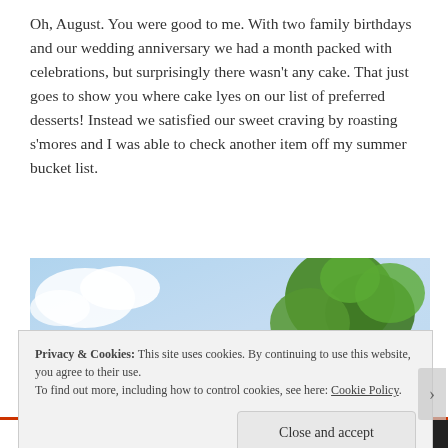Oh, August. You were good to me. With two family birthdays and our wedding anniversary we had a month packed with celebrations, but surprisingly there wasn't any cake. That just goes to show you where cake lyes on our list of preferred desserts! Instead we satisfied our sweet craving by roasting s'mores and I was able to check another item off my summer bucket list.
[Figure (photo): Outdoor photo showing blue sky with white clouds on the left and green tree branches on the right]
Privacy & Cookies: This site uses cookies. By continuing to use this website, you agree to their use.
To find out more, including how to control cookies, see here: Cookie Policy